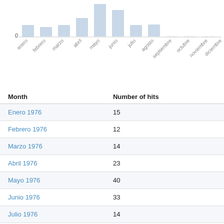[Figure (bar-chart): ]
| Month | Number of hits |
| --- | --- |
| Enero 1976 | 15 |
| Febrero 1976 | 12 |
| Marzo 1976 | 14 |
| Abril 1976 | 23 |
| Mayo 1976 | 40 |
| Junio 1976 | 33 |
| Julio 1976 | 14 |
| Agosto 1976 | 15 |